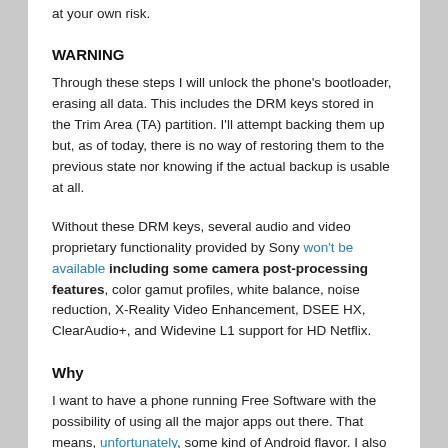at your own risk.
WARNING
Through these steps I will unlock the phone's bootloader, erasing all data. This includes the DRM keys stored in the Trim Area (TA) partition. I'll attempt backing them up but, as of today, there is no way of restoring them to the previous state nor knowing if the actual backup is usable at all.
Without these DRM keys, several audio and video proprietary functionality provided by Sony won't be available including some camera post-processing features, color gamut profiles, white balance, noise reduction, X-Reality Video Enhancement, DSEE HX, ClearAudio+, and Widevine L1 support for HD Netflix.
Why
I want to have a phone running Free Software with the possibility of using all the major apps out there. That means, unfortunately, some kind of Android flavor. I also